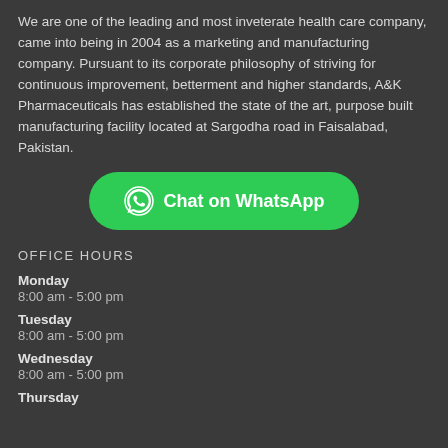We are one of the leading and most inveterate health care company, came into being in 2004 as a marketing and manufacturing company. Pursuant to its corporate philosophy of striving for continuous improvement, betterment and higher standards, A&K Pharmaceuticals has established the state of the art, purpose built manufacturing facility located at Sargodha road in Faisalabad, Pakistan.
[Figure (infographic): Green rounded button with WhatsApp logo icon and text 'Chat on WhatsApp']
OFFICE HOURS
Monday
8:00 am - 5:00 pm
Tuesday
8:00 am - 5:00 pm
Wednesday
8:00 am - 5:00 pm
Thursday